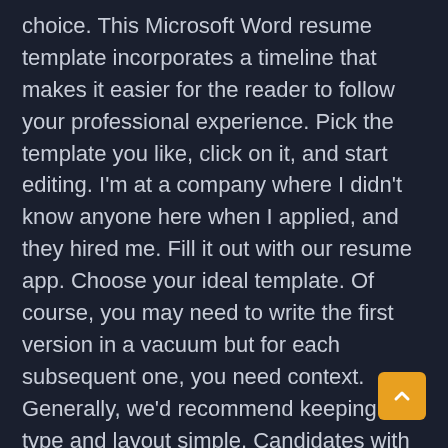choice. This Microsoft Word resume template incorporates a timeline that makes it easier for the reader to follow your professional experience. Pick the template you like, click on it, and start editing. I'm at a company where I didn't know anyone here when I applied, and they hired me. Fill it out with our resume app. Choose your ideal template. Of course, you may need to write the first version in a vacuum but for each subsequent one, you need context. Generally, we'd recommend keeping both type and layout simple. Candidates with the right combo of hard and soft skills create a match between what they offer in terms of abilities, and what the company's needs are. Performance cookies let us see which pages are the most and least popular, and how you and other visitors move around the site. Ad fast, easy, free resume builder. The final step of the My Perfect Resume builder process